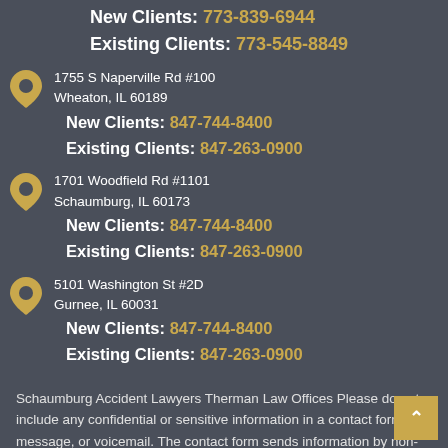New Clients: 773-839-6944
Existing Clients: 773-545-8849
1755 S Naperville Rd #100
Wheaton, IL 60189
New Clients: 847-744-8400
Existing Clients: 847-263-0900
1701 Woodfield Rd #1101
Schaumburg, IL 60173
New Clients: 847-744-8400
Existing Clients: 847-263-0900
5101 Washington St #2D
Gurnee, IL 60031
New Clients: 847-744-8400
Existing Clients: 847-263-0900
Schaumburg Accident Lawyers Therman Law Offices Please do not include any confidential or sensitive information in a contact form, message, or voicemail. The contact form sends information by non-